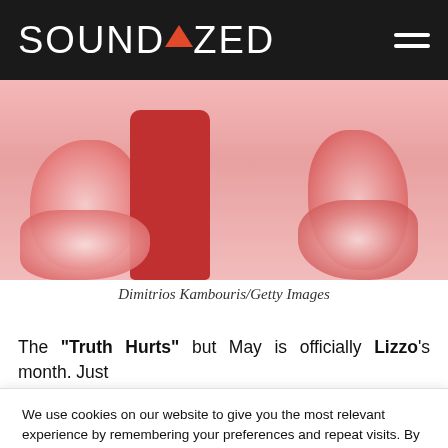SOUNDAZED
[Figure (photo): Photo of Lizzo wearing red outfit with fur details against pink background]
Dimitrios Kambouris/Getty Images
The "Truth Hurts" but May is officially Lizzo's month. Just
We use cookies on our website to give you the most relevant experience by remembering your preferences and repeat visits. By clicking "Accept", you consent to the use of ALL the cookies.
Do not sell my personal information.
Cookie Settings | Accept